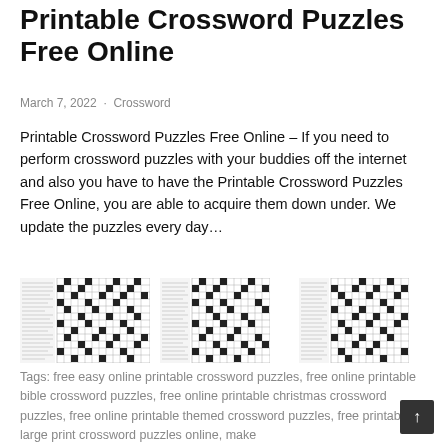Printable Crossword Puzzles Free Online
March 7, 2022 · Crossword
Printable Crossword Puzzles Free Online – If you need to perform crossword puzzles with your buddies off the internet and also you have to have the Printable Crossword Puzzles Free Online, you are able to acquire them down under. We update the puzzles every day…
[Figure (illustration): Three thumbnail images of printable crossword puzzles side by side]
Tags: free easy online printable crossword puzzles, free online printable bible crossword puzzles, free online printable christmas crossword puzzles, free online printable themed crossword puzzles, free printable large print crossword puzzles online, make your own crossword puzzle free printable online…